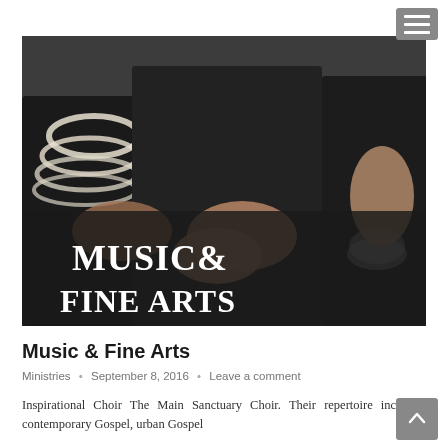[Figure (photo): Photo of people singing/worshipping, wearing black outfits with pearl necklaces and bracelets, with text overlay 'Music & Fine Arts' in large serif font at the bottom of the image.]
Music & Fine Arts
Ministries  •  September 8, 2016  •  Leave a comment
Inspirational Choir The Main Sanctuary Choir. Their repertoire includes: contemporary Gospel, urban Gospel